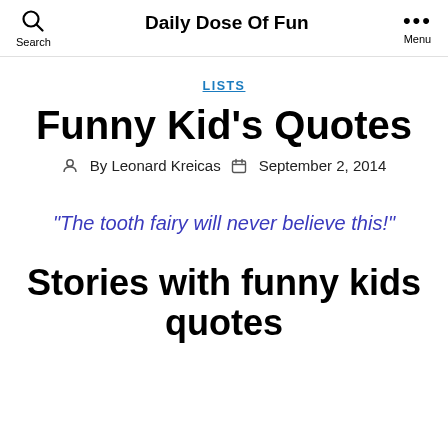Search | Daily Dose Of Fun | Menu
LISTS
Funny Kid's Quotes
By Leonard Kreicas  September 2, 2014
"The tooth fairy will never believe this!"
Stories with funny kids quotes